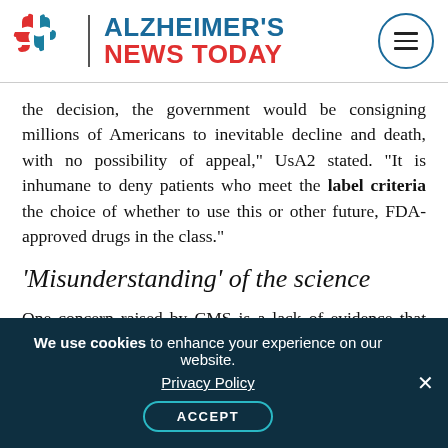ALZHEIMER'S NEWS TODAY
the decision, the government would be consigning millions of Americans to inevitable decline and death, with no possibility of appeal," UsA2 stated. "It is inhumane to deny patients who meet the label criteria the choice of whether to use this or other future, FDA-approved drugs in the class."
‘Misunderstanding’ of the science
One concern raised by CMS is a lack of evidence that lowering amyloid beta plaques in the brain will
We use cookies to enhance your experience on our website. Privacy Policy ACCEPT